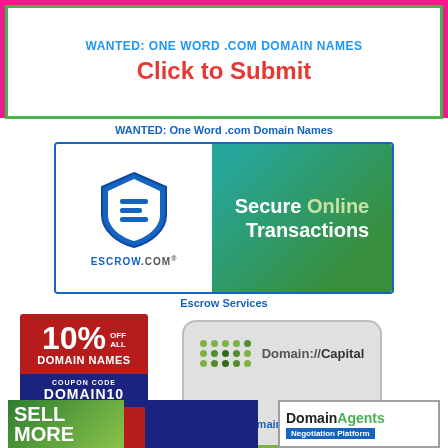[Figure (illustration): Pink-bordered banner ad: 'WANTED: One Word .com domain names' with 'Click to Submit' in red bold text on white background with green border]
WANTED: One Word .com Domain Names
[Figure (illustration): Escrow.com ad banner showing shield logo on left and 'Secure Online Transactions' text on green gradient background]
Escrow Services
[Figure (illustration): BuyDomains ad: 10% OFF ALL DOMAIN NAMES, COUPON CODE DOMAIN10 on red and navy background]
BuyDomains
[Figure (illustration): Domain Capital ad: gray rounded card with green dots grid, 'Domain://Capital' text, and green bar 'Premium Domain Name Financing']
Domain Capital
[Figure (illustration): Bottom row: three partial ads - Sell More (green), a dark blue ad, and DomainAgents Negotiation Platform (white with border)]